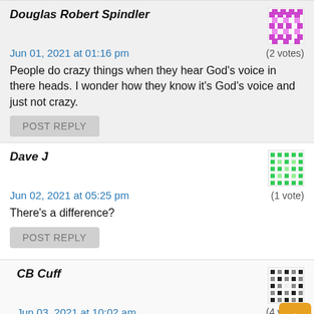Douglas Robert Spindler
Jun 01, 2021 at 01:16 pm
(2 votes)
People do crazy things when they hear God's voice in there heads. I wonder how they know it's God's voice and just not crazy.
POST REPLY
Dave J
Jun 02, 2021 at 05:25 pm
(1 vote)
There's a difference?
POST REPLY
CB Cuff
Jun 03, 2021 at 10:02 am
(4 votes)
As Lilly Tomlin famously quipped, "When we say